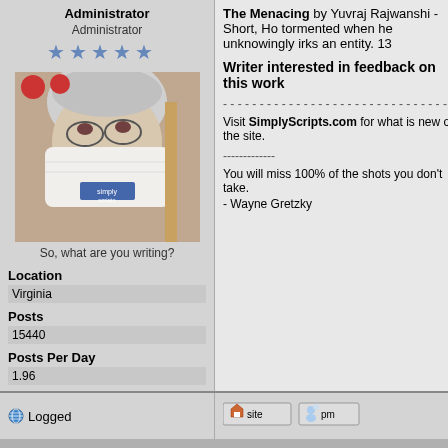Administrator
Administrator
[Figure (illustration): Five blue star rating icons]
[Figure (photo): Person wearing a white face mask with Simply Scripts logo, gray hair, glasses visible]
So, what are you writing?
Location
Virginia
Posts
15440
Posts Per Day
1.96
The Menacing by Yuvraj Rajwanshi - Short, Ho tormented when he unknowingly irks an entity. 13
Writer interested in feedback on this work
- - - - - - - - - - - - - - - - - - - - - - - - - - - - - - - - - - - - - - - -
Visit SimpllyScripts.com for what is new on the site.
-------------
You will miss 100% of the shots you don't take.
- Wayne Gretzky
Logged
[Figure (infographic): Site button and PM button icons]